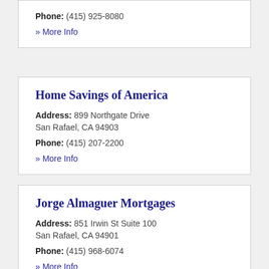Phone: (415) 925-8080
» More Info
Home Savings of America
Address: 899 Northgate Drive San Rafael, CA 94903
Phone: (415) 207-2200
» More Info
Jorge Almaguer Mortgages
Address: 851 Irwin St Suite 100 San Rafael, CA 94901
Phone: (415) 968-6074
» More Info